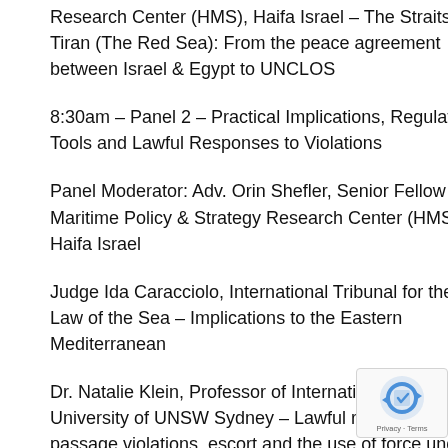Research Center (HMS), Haifa Israel – The Straits of Tiran (The Red Sea): From the peace agreement between Israel & Egypt to UNCLOS
8:30am – Panel 2 – Practical Implications, Regulatory Tools and Lawful Responses to Violations
Panel Moderator: Adv. Orin Shefler, Senior Fellow Maritime Policy & Strategy Research Center (HMS), Haifa Israel
Judge Ida Caracciolo, International Tribunal for the Law of the Sea – Implications to the Eastern Mediterranean
Dr. Natalie Klein, Professor of International Law University of UNSW Sydney – Lawful responses to passage violations, escort and the use of force under UNCLOS